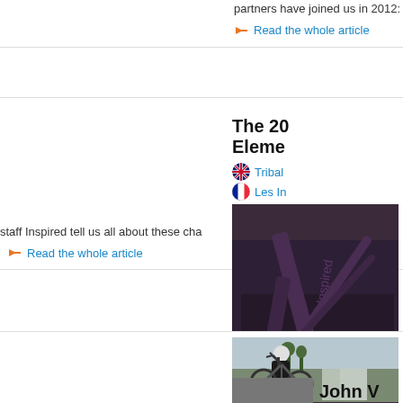partners have joined us in 2012: Inspire
Read the whole article
The 20 Ele
[Figure (photo): Close-up photo of an Inspired BMX/trials bike frame and components, purple color, showing the bottom bracket, cranks, and pedal area]
Tribal
Les In
Inspired b season: t staff Inspired tell us all about these cha
Read the whole article
Andrei
[Figure (photo): Photo of a trials cyclist (Andrei B) performing a wheelie/trick on a mountain bike in an outdoor urban setting, wearing a helmet and black outfit]
Tribal
Andre
Andrei B us recent goals for
Read the whole article
John V
[Figure (photo): Partial photo at bottom of page, cut off]